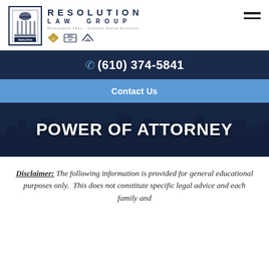[Figure (logo): Resolution Law Group logo with building icon, firm name, tagline 'Reasonable Fees · Common Sense Solutions', and association badges]
☎ (610) 374-5841
Contact Us
POWER OF ATTORNEY
Disclaimer: The following information is provided for general educational purposes only.  This does not constitute specific legal advice and each family and